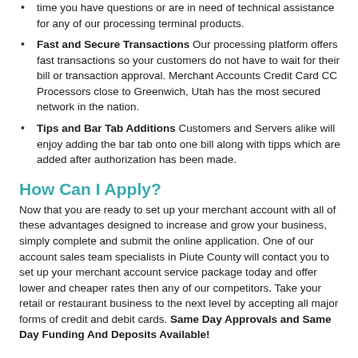time you have questions or are in need of technical assistance for any of our processing terminal products.
Fast and Secure Transactions Our processing platform offers fast transactions so your customers do not have to wait for their bill or transaction approval. Merchant Accounts Credit Card CC Processors close to Greenwich, Utah has the most secured network in the nation.
Tips and Bar Tab Additions Customers and Servers alike will enjoy adding the bar tab onto one bill along with tipps which are added after authorization has been made.
How Can I Apply?
Now that you are ready to set up your merchant account with all of these advantages designed to increase and grow your business, simply complete and submit the online application. One of our account sales team specialists in Piute County will contact you to set up your merchant account service package today and offer lower and cheaper rates then any of our competitors. Take your retail or restaurant business to the next level by accepting all major forms of credit and debit cards. Same Day Approvals and Same Day Funding And Deposits Available!